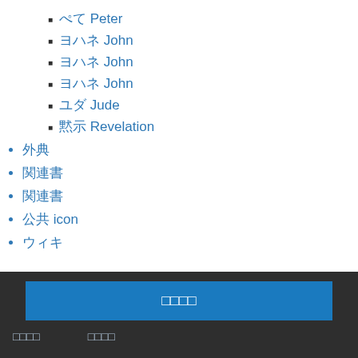□□□□ Peter
□□□□ John
□□□□ John
□□□□ John
□□□ Jude
□□□ Revelation
□□□
□□□□
□□□□
□□ icon
□□□□
□□□□   □□□□
□□□□